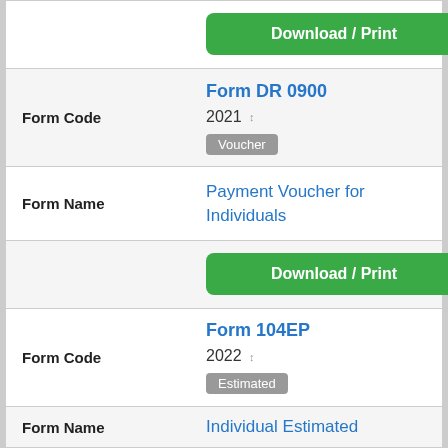Download / Print
Form Code
Form DR 0900
2021
Voucher
Form Name
Payment Voucher for Individuals
Download / Print
Form Code
Form 104EP
2022
Estimated
Form Name
Individual Estimated